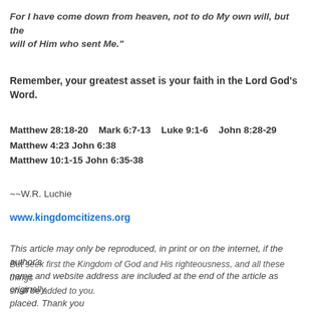For I have come down from heaven, not to do My own will, but the will of Him who sent Me."
Remember, your greatest asset is your faith in the Lord God's Word.
Matthew 28:18-20   Mark 6:7-13   Luke 9:1-6   John 8:28-29
Matthew 4:23  John 6:38
Matthew 10:1-15  John 6:35-38
~~W.R. Luchie
www.kingdomcitizens.org
This article may only be reproduced, in print or on the internet, if the author's name and website address are included at the end of the article as originally placed.  Thank you
But seek first the Kingdom of God and His righteousness, and all these things shall be added to you.